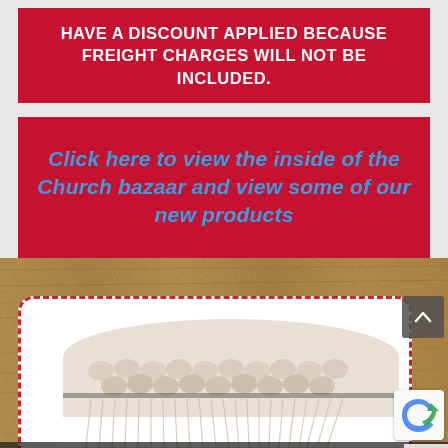HAVE A DISCOUNT APPLIED BECAUSE FREIGHT CHARGES WILL NOT BE INCLUDED.
Click here to view the inside of the Church bazaar and view some of our new products
[Figure (photo): A decorative cream/white macrame or woven pillow with bobble texture and fringe trim displayed against a burlap/jute textured background. The pillow is shown inside a white rounded card with a red dashed border.]